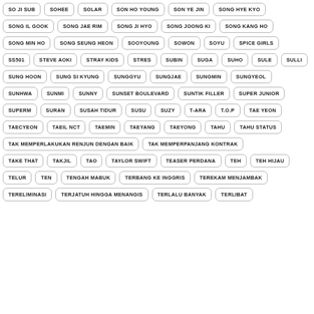SO JI SUB
SOHEE
SOLAR
SON HO YOUNG
SON YE JIN
SONG HYE KYO
SONG IL GOOK
SONG JAE RIM
SONG JI HYO
SONG JOONG KI
SONG KANG HO
SONG MIN HO
SONG SEUNG HEON
SOOYOUNG
SOWON
SOYU
SPICE GIRLS
SS501
STEVE AOKI
STRAY KIDS
STRES
SUBIN
SUGA
SUHO
SULE
SULLI
SUNG HOON
SUNG SI KYUNG
SUNGGYU
SUNGJAE
SUNGMIN
SUNGYEOL
SUNHWA
SUNMI
SUNNY
SUNSET BOULEVARD
SUNTIK FILLER
SUPER JUNIOR
SUPERM
SURAN
SUSAH TIDUR
SUSU
SUZY
T-ARA
T.O.P
TAE YEON
TAECYEON
TAEIL NCT
TAEMIN
TAEYANG
TAEYONG
TAHU
TAHU STATUS
TAK MEMPERLAKUKAN RENJUN DENGAN BAIK
TAK MEMPERPANJANG KONTRAK
TAKE THAT
TAKJIL
TAO
TAYLOR SWIFT
TEASER PERDANA
TEH
TEH HIJAU
TELUR
TEN
TENGAH MABUK
TERBANG KE INGGRIS
TEREKAM MENJAMBAK
TERELIMINASI
TERJATUH HINGGA MENANGIS
TERLALU BANYAK
TERLIBAT